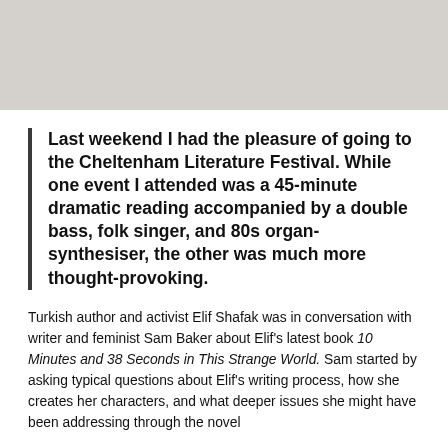[Figure (photo): Gray image placeholder area at the top of the page]
Last weekend I had the pleasure of going to the Cheltenham Literature Festival. While one event I attended was a 45-minute dramatic reading accompanied by a double bass, folk singer, and 80s organ-synthesiser, the other was much more thought-provoking.
Turkish author and activist Elif Shafak was in conversation with writer and feminist Sam Baker about Elif's latest book 10 Minutes and 38 Seconds in This Strange World. Sam started by asking typical questions about Elif's writing process, how she creates her characters, and what deeper issues she might have been addressing through the novel